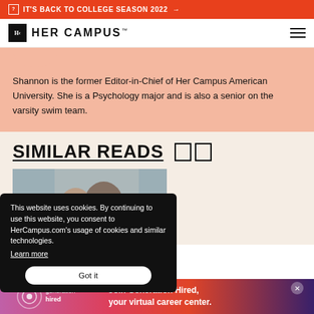IT'S BACK TO COLLEGE SEASON 2022 →
[Figure (logo): Her Campus logo with Hc box icon and HER CAMPUS text]
Shannon is the former Editor-in-Chief of Her Campus American University. She is a Psychology major and is also a senior on the varsity swim team.
SIMILAR READS
[Figure (photo): Two people embracing, couple photo for related article thumbnail]
This website uses cookies. By continuing to use this website, you consent to HerCampus.com's usage of cookies and similar technologies. Learn more
[Figure (infographic): Generation Hired advertisement banner: Join Generation Hired, your virtual career center.]